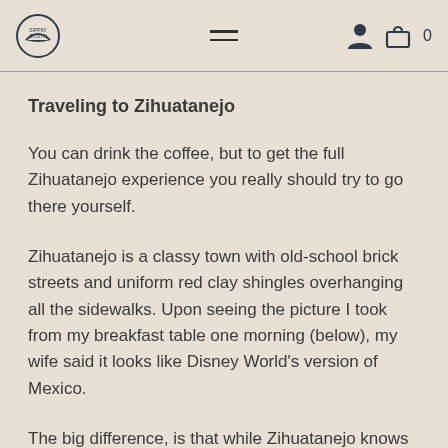[Logo] [Menu] [User icon] [Cart icon] 0
Traveling to Zihuatanejo
You can drink the coffee, but to get the full Zihuatanejo experience you really should try to go there yourself.
Zihuatanejo is a classy town with old-school brick streets and uniform red clay shingles overhanging all the sidewalks. Upon seeing the picture I took from my breakfast table one morning (below), my wife said it looks like Disney World's version of Mexico.
The big difference, is that while Zihuatanejo knows how to be a good host to tourists (most of whom come over from the nearby resort town of Ixtapa), it is not a tourist town.